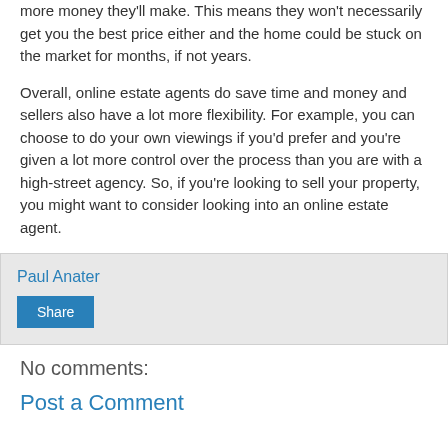more money they'll make. This means they won't necessarily get you the best price either and the home could be stuck on the market for months, if not years.
Overall, online estate agents do save time and money and sellers also have a lot more flexibility. For example, you can choose to do your own viewings if you'd prefer and you're given a lot more control over the process than you are with a high-street agency. So, if you're looking to sell your property, you might want to consider looking into an online estate agent.
Paul Anater
Share
No comments:
Post a Comment